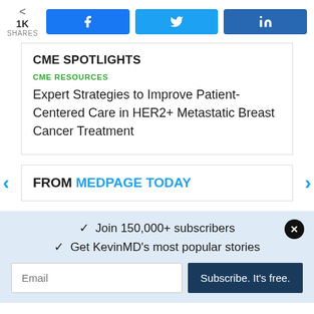[Figure (other): Social share bar with share count 1K SHARES and three buttons: Facebook (f), Twitter (bird icon), LinkedIn (in)]
CME SPOTLIGHTS
CME RESOURCES
Expert Strategies to Improve Patient-Centered Care in HER2+ Metastatic Breast Cancer Treatment
FROM MEDPAGE TODAY
✓  Join 150,000+ subscribers
✓  Get KevinMD's most popular stories